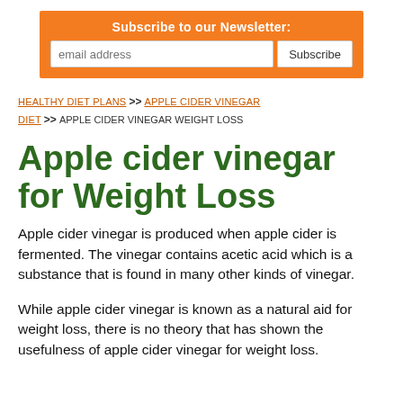[Figure (other): Orange newsletter subscription box with email input field and Subscribe button]
HEALTHY DIET PLANS >> APPLE CIDER VINEGAR DIET >> APPLE CIDER VINEGAR WEIGHT LOSS
Apple cider vinegar for Weight Loss
Apple cider vinegar is produced when apple cider is fermented. The vinegar contains acetic acid which is a substance that is found in many other kinds of vinegar.
While apple cider vinegar is known as a natural aid for weight loss, there is no theory that has shown the usefulness of apple cider vinegar for weight loss.